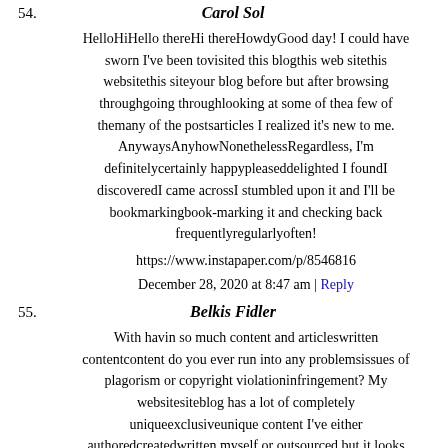54. Carol Sol
HelloHiHello thereHi thereHowdyGood day! I could have sworn I've been tovisited this blogthis web sitethis websitethis siteyour blog before but after browsing throughgoing throughlooking at some of thea few of themany of the postsarticles I realized it's new to me. AnywaysAnyhowNonethelessRegardless, I'm definitelycertainly happypleaseddelighted I foundI discoveredI came acrossI stumbled upon it and I'll be bookmarkingbook-marking it and checking back frequentlyregularlyoften!
https://www.instapaper.com/p/8546816
December 28, 2020 at 8:47 am | Reply
55. Belkis Fidler
With havin so much content and articleswritten contentcontent do you ever run into any problemsissues of plagorism or copyright violationinfringement? My websitesiteblog has a lot of completely uniqueexclusiveunique content I've either authoredcreatedwritten myself or outsourced but it looks likeappearsseems a lot of it is popping it up all over the